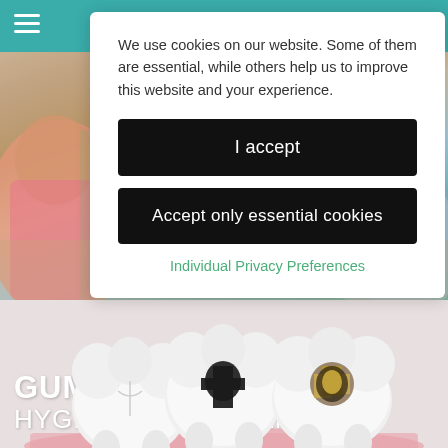[Figure (photo): Screenshot of a dental clinic website showing a cookie consent popup overlay over a background photo of children, with text 'GUM HYGIENE TREATMENT' visible, and a second section showing white tooth models on a pink surface]
We use cookies on our website. Some of them are essential, while others help us to improve this website and your experience.
I accept
Accept only essential cookies
Individual Privacy Preferences
GUM HYGIENE TREATMENT